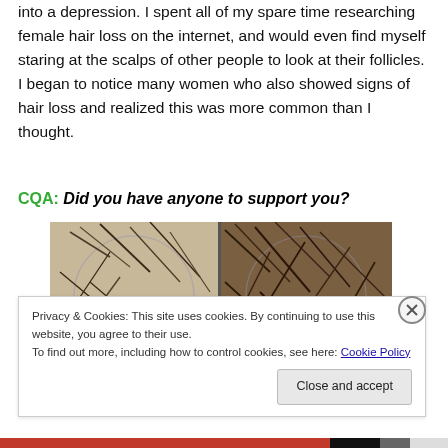into a depression. I spent all of my spare time researching female hair loss on the internet, and would even find myself staring at the scalps of other people to look at their follicles. I began to notice many women who also showed signs of hair loss and realized this was more common than I thought.
CQA: Did you have anyone to support you?
[Figure (photo): Two side-by-side microscopic/close-up images of hair follicles on scalp, showing sparse hair strands.]
Privacy & Cookies: This site uses cookies. By continuing to use this website, you agree to their use.
To find out more, including how to control cookies, see here: Cookie Policy
Close and accept